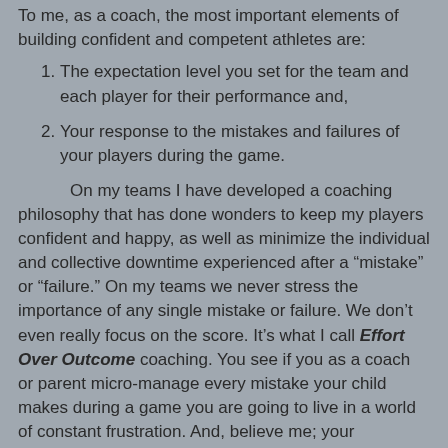To me, as a coach, the most important elements of building confident and competent athletes are:
The expectation level you set for the team and each player for their performance and,
Your response to the mistakes and failures of your players during the game.
On my teams I have developed a coaching philosophy that has done wonders to keep my players confident and happy, as well as minimize the individual and collective downtime experienced after a “mistake” or “failure.”  On my teams we never stress the importance of any single mistake or failure.   We don’t even really focus on the score.  It’s what I call Effort Over Outcome coaching.  You see if you as a coach or parent micro-manage every mistake your child makes during a game you are going to live in a world of constant frustration.  And, believe me; your frustration makes the game a whole lot less fun for you and your child.
The last thing your child needs to hear from the stands or